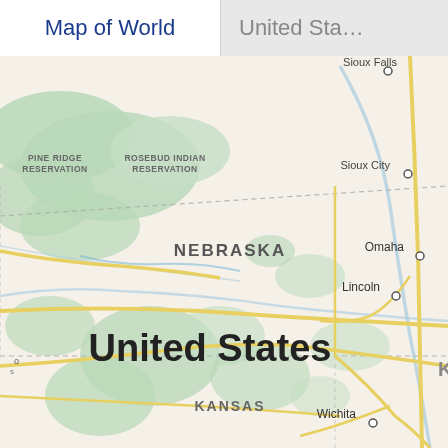Map of World
United Sta...
[Figure (map): Map showing Nebraska, Kansas, and surrounding areas of the United States, including Pine Ridge Reservation, Rosebud Indian Reservation, cities: Sioux Falls, Sioux City, Omaha, Lincoln, Wichita. Large 'United States' label visible in center-left.]